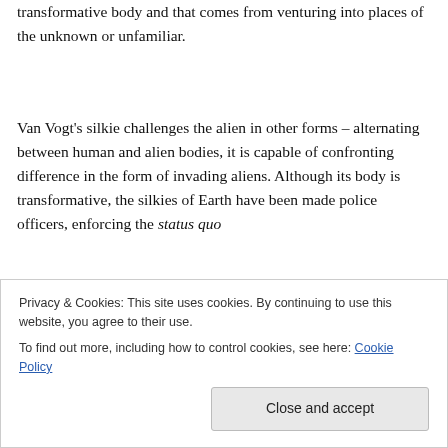transformative body and that comes from venturing into places of the unknown or unfamiliar.
Van Vogt's silkie challenges the alien in other forms – alternating between human and alien bodies, it is capable of confronting difference in the form of invading aliens. Although its body is transformative, the silkies of Earth have been made police officers, enforcing the status quo
Privacy & Cookies: This site uses cookies. By continuing to use this website, you agree to their use.
To find out more, including how to control cookies, see here: Cookie Policy